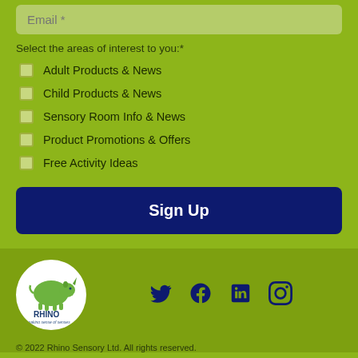Email *
Select the areas of interest to you:*
Adult Products & News
Child Products & News
Sensory Room Info & News
Product Promotions & Offers
Free Activity Ideas
Sign Up
[Figure (logo): Rhino logo - green rhino with text 'RHINO making sense of senses' in a white circle]
[Figure (infographic): Social media icons: Twitter, Facebook, LinkedIn, Instagram in dark navy blue]
© 2022 Rhino Sensory Ltd. All rights reserved.